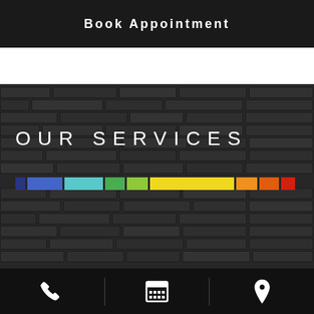Book Appointment
[Figure (illustration): Dark brick wall background with 'OUR SERVICES' heading in white spaced letters, and a colorful horizontal bar made of colored rectangles (navy, blue, cyan, green, lime, yellow, orange, dark orange, red)]
[Figure (infographic): Footer bar with three icons: phone, calendar, and location pin, separated by vertical dividers on a dark background]